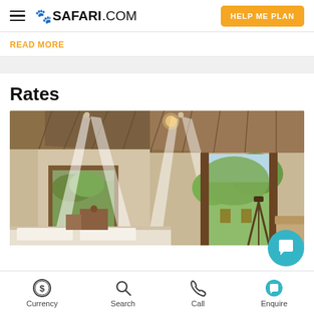SAFARI.COM | HELP ME PLAN
READ MORE
Rates
[Figure (photo): Safari lodge bedroom interior with white mosquito net canopy over beds, open wooden ceiling with thatched roof, large open doorways looking out to a wooden deck with chairs and lush green hillside view.]
Currency | Search | Call | Enquire